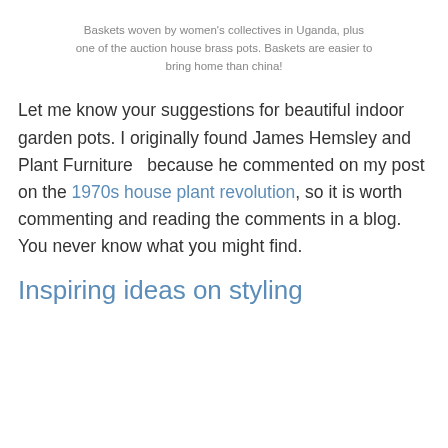Baskets woven by women's collectives in Uganda, plus one of the auction house brass pots. Baskets are easier to bring home than china!
Let me know your suggestions for beautiful indoor garden pots. I originally found James Hemsley and Plant Furniture  because he commented on my post on the 1970s house plant revolution, so it is worth commenting and reading the comments in a blog. You never know what you might find.
Inspiring ideas on styling